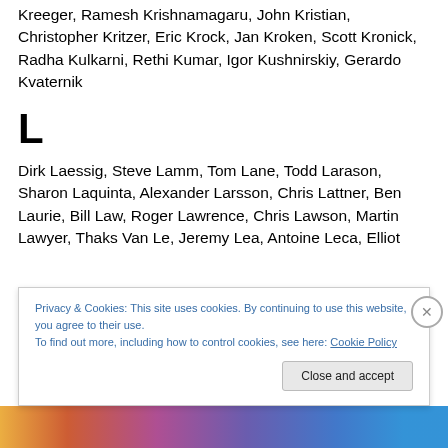Kreeger, Ramesh Krishnamagaru, John Kristian, Christopher Kritzer, Eric Krock, Jan Kroken, Scott Kronick, Radha Kulkarni, Rethi Kumar, Igor Kushnirskiy, Gerardo Kvaternik
L
Dirk Laessig, Steve Lamm, Tom Lane, Todd Larason, Sharon Laquinta, Alexander Larsson, Chris Lattner, Ben Laurie, Bill Law, Roger Lawrence, Chris Lawson, Martin Lawyer, Thaks Van Le, Jeremy Lea, Antoine Leca, Elliot
Privacy & Cookies: This site uses cookies. By continuing to use this website, you agree to their use.
To find out more, including how to control cookies, see here: Cookie Policy